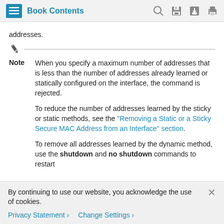Book Contents
addresses.
Note   When you specify a maximum number of addresses that is less than the number of addresses already learned or statically configured on the interface, the command is rejected.

To reduce the number of addresses learned by the sticky or static methods, see the "Removing a Static or a Sticky Secure MAC Address from an Interface" section.

To remove all addresses learned by the dynamic method, use the shutdown and no shutdown commands to restart
By continuing to use our website, you acknowledge the use of cookies.
Privacy Statement >    Change Settings >